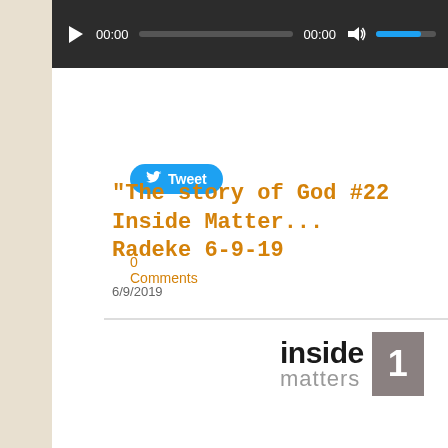[Figure (screenshot): Audio player bar with play button, time displays showing 00:00, progress bar, volume icon, and blue volume bar]
[Figure (screenshot): Twitter Tweet button with bird icon]
0 Comments
"The story of God #22 Inside Matters Radeke 6-9-19
6/9/2019
[Figure (logo): Inside Matters logo with 'inside' in bold black and 'matters' in gray, with a dark box on the right]